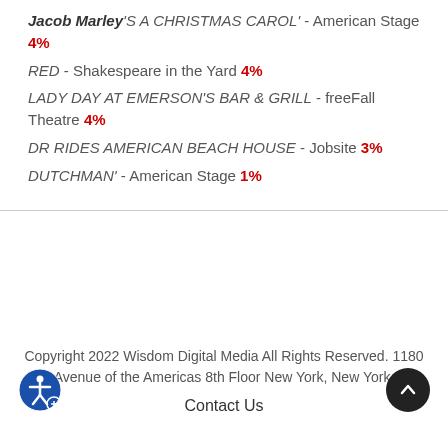Jacob Marley'S A CHRISTMAS CAROL' - American Stage 4%
RED - Shakespeare in the Yard 4%
LADY DAY AT EMERSON'S BAR & GRILL - freeFall Theatre 4%
DR RIDES AMERICAN BEACH HOUSE - Jobsite 3%
DUTCHMAN' - American Stage 1%
Copyright 2022 Wisdom Digital Media All Rights Reserved. 1180 Avenue of the Americas 8th Floor New York, New York. Contact Us